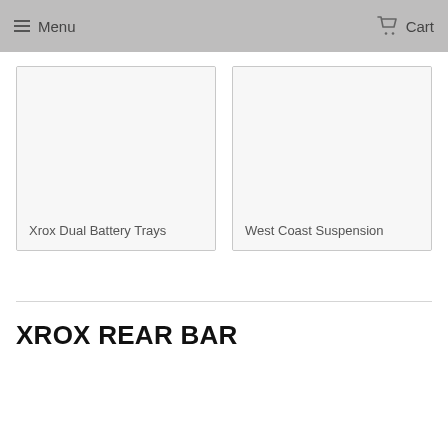Menu   Cart
[Figure (other): Product card placeholder image for Xrox Dual Battery Trays]
Xrox Dual Battery Trays
[Figure (other): Product card placeholder image for West Coast Suspension]
West Coast Suspension
XROX REAR BAR